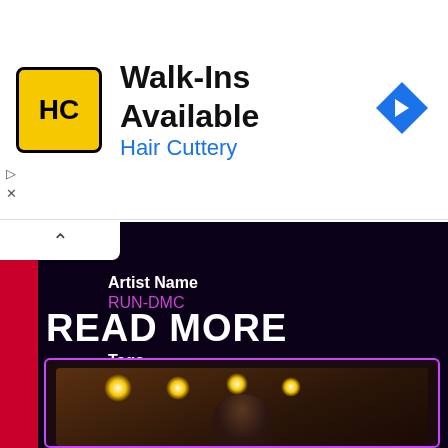[Figure (screenshot): Hair Cuttery advertisement banner with logo, headline 'Walk-Ins Available', brand name 'Hair Cuttery', and blue navigation diamond icon]
Artist Name
RUN-DMC
Tags
Run-DMC  Christmas in Hollis  A Very Special Christmas
Log in to post comments
READ MORE
[Figure (photo): Photo of a person with stage lights in the background, shown inside a purple/pink outlined frame]